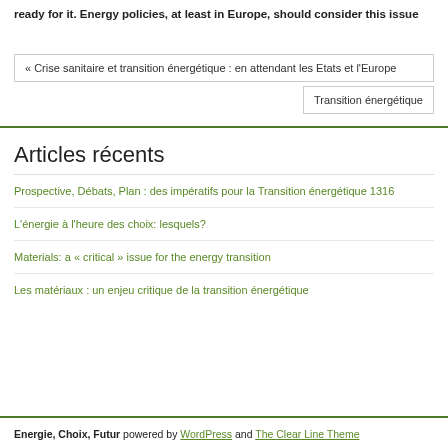ready for it. Energy policies, at least in Europe, should consider this issue
« Crise sanitaire et transition énergétique : en attendant les Etats et l'Europe
Transition énergétique
Articles récents
Prospective, Débats, Plan : des impératifs pour la Transition énergétique 1316
L'énergie à l'heure des choix: lesquels?
Materials: a « critical » issue for the energy transition
Les matériaux : un enjeu critique de la transition énergétique
Energie, Choix, Futur powered by WordPress and The Clear Line Theme